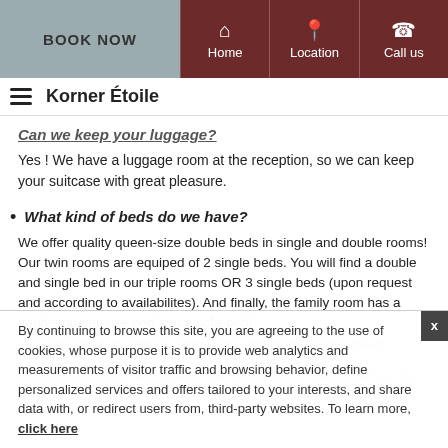BOOK NOW | Home | Location | Call us
Korner Étoile
Yes ! We have a luggage room at the reception, so we can keep your suitcase with great pleasure.
What kind of beds do we have?
We offer quality queen-size double beds in single and double rooms! Our twin rooms are equiped of 2 single beds. You will find a double and single bed in our triple rooms OR 3 single beds (upon request and according to availabilites). And finally, the family room has a double queen-size bed and a sofa-bed!
By continuing to browse this site, you are agreeing to the use of cookies, whose purpose it is to provide web analytics and measurements of visitor traffic and browsing behavior, define personalized services and offers tailored to your interests, and share data with, or redirect users from, third-party websites. To learn more, click here
Is it possible to add an extra bed in the room? How about babies?
No, we won't put an extra bed in the room. Except the toddler bed for baby! Ask us in advance for free, just let us know before!